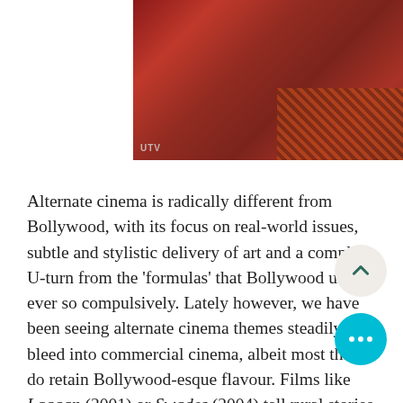[Figure (photo): A dark red-toned indoor scene, possibly a Bollywood film still, with a UTV watermark logo in the bottom-left corner.]
Alternate cinema is radically different from Bollywood, with its focus on real-world issues, subtle and stylistic delivery of art and a complete U-turn from the ‘formulas’ that Bollywood uses ever so compulsively. Lately however, we have been seeing alternate cinema themes steadily bleed into commercial cinema, albeit most that do retain Bollywood-esque flavour. Films like Lagaan (2001) or Swades (2004) tell rural stories from the heart-land, stories of survival and overcoming the odds, which suggested a deep connection